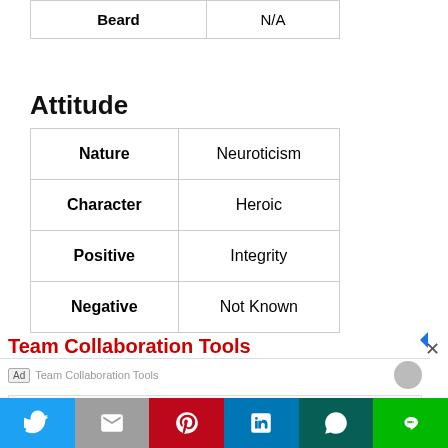| Beard | N/A |
| --- | --- |
Attitude
| Nature | Neuroticism |
| --- | --- |
| Character | Heroic |
| Positive | Integrity |
| Negative | Not Known |
Team Collaboration Tools
Ad  Team Collaboration Tools
Outsourcing Software  Outsourcing Software  SEE MORE